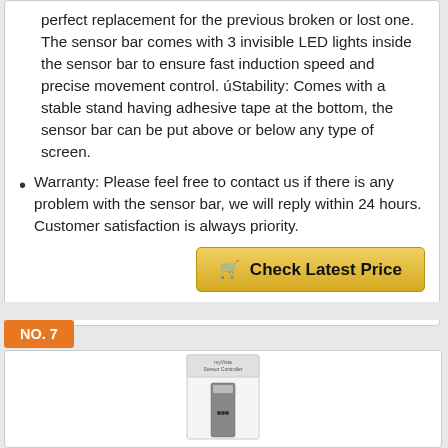perfect replacement for the previous broken or lost one. The sensor bar comes with 3 invisible LED lights inside the sensor bar to ensure fast induction speed and precise movement control. úStability: Comes with a stable stand having adhesive tape at the bottom, the sensor bar can be put above or below any type of screen.
Warranty: Please feel free to contact us if there is any problem with the sensor bar, we will reply within 24 hours. Customer satisfaction is always priority.
[Figure (other): Check Latest Price button with shopping cart icon, gold/yellow gradient background]
Price incl. tax, excl. shipping
NO. 7
[Figure (photo): Product photo of a Wii sensor bar in packaging box, white background]